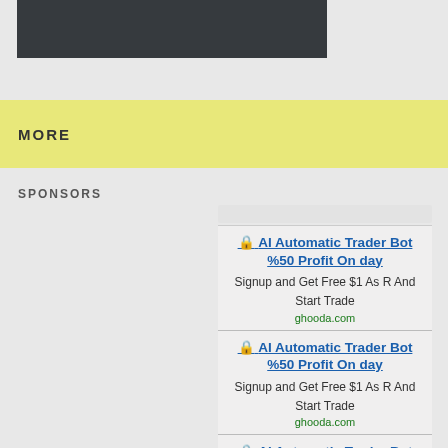[Figure (screenshot): Dark gray rectangular bar at top of page]
MORE
SPONSORS
[Figure (screenshot): Blurred ad URL text]
🔒 AI Automatic Trader Bot %50 Profit On day
Signup and Get Free $1 As R And Start Trade
ghooda.com
🔒 AI Automatic Trader Bot %50 Profit On day
Signup and Get Free $1 As R And Start Trade
ghooda.com
🔒 AI Automatic Trader Bot %50 Profit On day